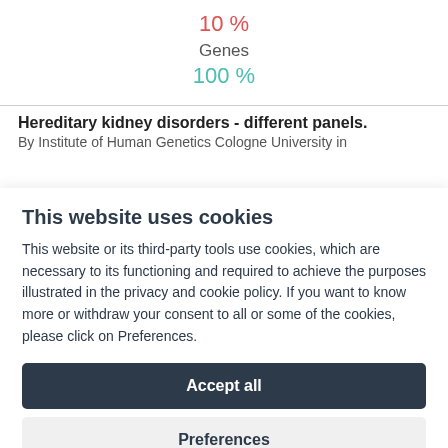10 %
Genes
100 %
Hereditary kidney disorders - different panels.
By Institute of Human Genetics Cologne University in
This website uses cookies
This website or its third-party tools use cookies, which are necessary to its functioning and required to achieve the purposes illustrated in the privacy and cookie policy. If you want to know more or withdraw your consent to all or some of the cookies, please click on Preferences.
Accept all
Preferences